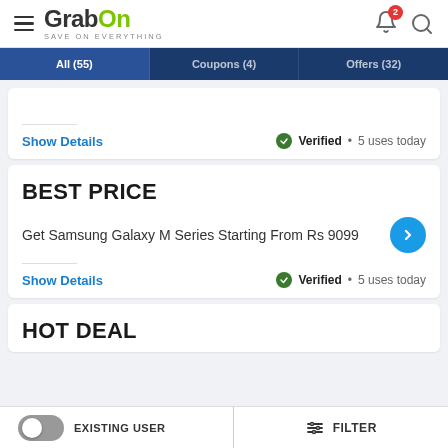GrabOn — SAVE ON EVERYTHING
All (55)   Coupons (4)   Offers (32)
Show Details  •  Verified  •  5 uses today
BEST PRICE
Get Samsung Galaxy M Series Starting From Rs 9099
Show Details  •  Verified  •  5 uses today
HOT DEAL
EXISTING USER   FILTER